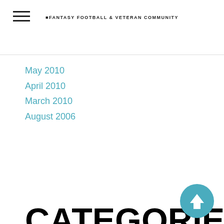FANTASY FOOTBALL & VETERAN COMMUNITY
May 2010
April 2010
March 2010
August 2006
CATEGORIES
All
100 Losses
100 Wins
158
#158reunion
158 Reunion
2006
2007